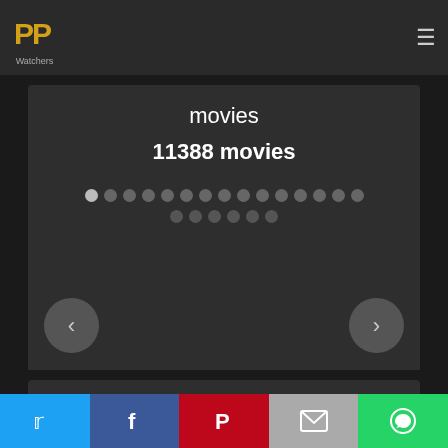[Figure (logo): PP Watchers logo — two orange PP letters with Watchers text below]
movies
11388 movies
[Figure (infographic): Pagination dots — two rows of circular dots, first row active/light, second row dimmer, with left and right navigation arrow buttons]
[Figure (screenshot): Social share bar with Twitter, Facebook, Pinterest, Email, and WhatsApp buttons]